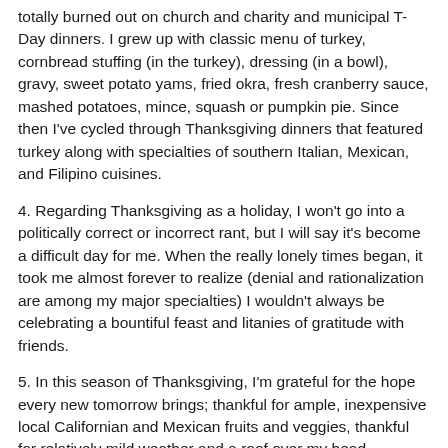totally burned out on church and charity and municipal T-Day dinners. I grew up with classic menu of turkey, cornbread stuffing (in the turkey), dressing (in a bowl), gravy, sweet potato yams, fried okra, fresh cranberry sauce, mashed potatoes, mince, squash or pumpkin pie. Since then I've cycled through Thanksgiving dinners that featured turkey along with specialties of southern Italian, Mexican, and Filipino cuisines.
4. Regarding Thanksgiving as a holiday, I won't go into a politically correct or incorrect rant, but I will say it's become a difficult day for me. When the really lonely times began, it took me almost forever to realize (denial and rationalization are among my major specialties) I wouldn't always be celebrating a bountiful feast and litanies of gratitude with friends.
5. In this season of Thanksgiving, I'm grateful for the hope every new tomorrow brings; thankful for ample, inexpensive local Californian and Mexican fruits and veggies, thankful for relatively mild weather and a roof over my head.